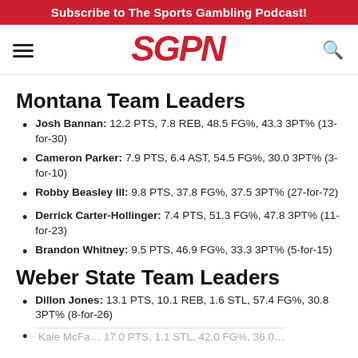Subscribe to The Sports Gambling Podcast!
Montana Team Leaders
Josh Bannan: 12.2 PTS, 7.8 REB, 48.5 FG%, 43.3 3PT% (13-for-30)
Cameron Parker: 7.9 PTS, 6.4 AST, 54.5 FG%, 30.0 3PT% (3-for-10)
Robby Beasley III: 9.8 PTS, 37.8 FG%, 37.5 3PT% (27-for-72)
Derrick Carter-Hollinger: 7.4 PTS, 51.3 FG%, 47.8 3PT% (11-for-23)
Brandon Whitney: 9.5 PTS, 46.9 FG%, 33.3 3PT% (5-for-15)
Weber State Team Leaders
Dillon Jones: 13.1 PTS, 10.1 REB, 1.6 STL, 57.4 FG%, 30.8 3PT% (8-for-26)